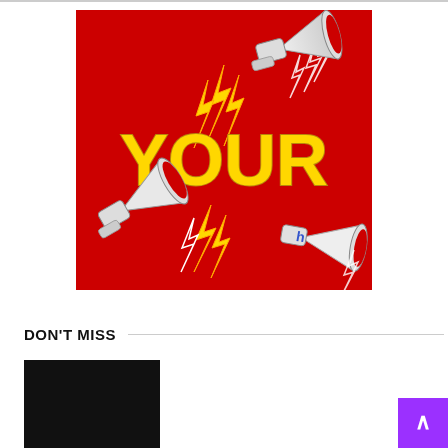[Figure (illustration): Red background image with megaphones/loudspeakers and lightning bolt graphics. Large yellow text reads 'YOUR' in the center. Three megaphones are positioned around the text — one upper right, one lower left, one lower right (partially cropped). Yellow and white lightning bolt/sound wave graphics surround the megaphones.]
DON'T MISS
[Figure (photo): Dark/black thumbnail image, partially visible at bottom of page]